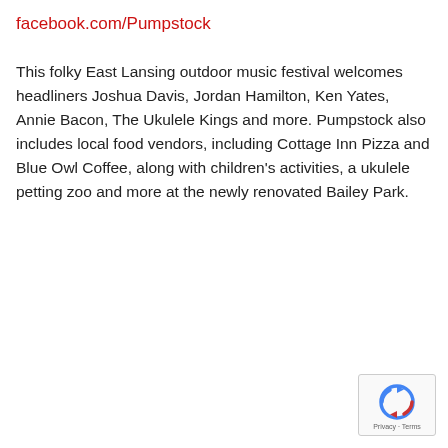facebook.com/Pumpstock
This folky East Lansing outdoor music festival welcomes headliners Joshua Davis, Jordan Hamilton, Ken Yates, Annie Bacon, The Ukulele Kings and more. Pumpstock also includes local food vendors, including Cottage Inn Pizza and Blue Owl Coffee, along with children's activities, a ukulele petting zoo and more at the newly renovated Bailey Park.
[Figure (other): reCAPTCHA badge with Privacy and Terms text]